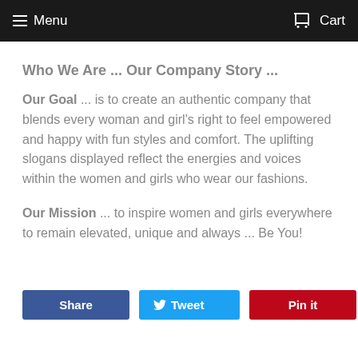Menu  Cart
Who We Are ... Our Company Story ...
Our Goal ... is to create an authentic company that blends every woman and girl's right to feel empowered and happy with fun styles and comfort. The uplifting slogans displayed reflect the energies and voices within the women and girls who wear our fashions.
Our Mission ... to inspire women and girls everywhere to remain elevated, unique and always ... Be You!
[Figure (other): Social share buttons: Share (Facebook, blue), Tweet (Twitter, light blue with bird icon), Pin it (Pinterest, red)]